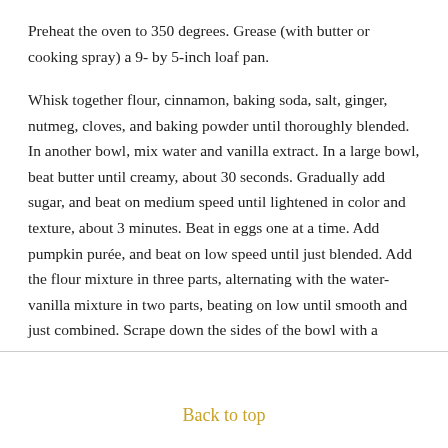Preheat the oven to 350 degrees. Grease (with butter or cooking spray) a 9- by 5-inch loaf pan.
Whisk together flour, cinnamon, baking soda, salt, ginger, nutmeg, cloves, and baking powder until thoroughly blended. In another bowl, mix water and vanilla extract. In a large bowl, beat butter until creamy, about 30 seconds. Gradually add sugar, and beat on medium speed until lightened in color and texture, about 3 minutes. Beat in eggs one at a time. Add pumpkin purée, and beat on low speed until just blended. Add the flour mixture in three parts, alternating with the water-vanilla mixture in two parts, beating on low until smooth and just combined. Scrape down the sides of the bowl with a
Back to top